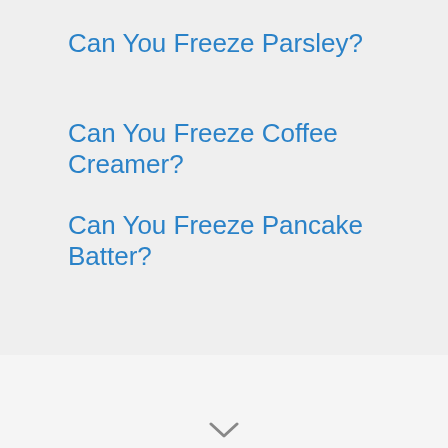Can You Freeze Parsley?
Can You Freeze Coffee Creamer?
Can You Freeze Pancake Batter?